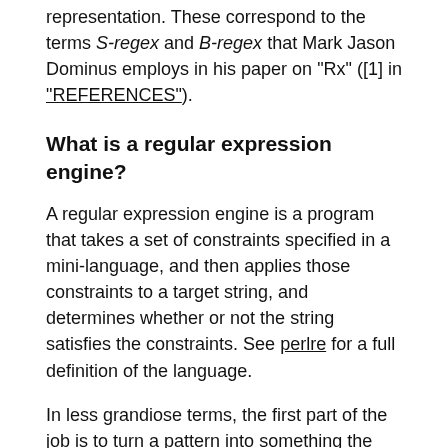representation. These correspond to the terms S-regex and B-regex that Mark Jason Dominus employs in his paper on "Rx" ([1] in "REFERENCES").
What is a regular expression engine?
A regular expression engine is a program that takes a set of constraints specified in a mini-language, and then applies those constraints to a target string, and determines whether or not the string satisfies the constraints. See perlre for a full definition of the language.
In less grandiose terms, the first part of the job is to turn a pattern into something the computer can efficiently use to find the matching point in the string, and the second part is performing the search itself.
To do this we need to produce a program by parsing the text. We then need to execute the program to find the point in the string that matches. And we need to do the whole thing efficiently.